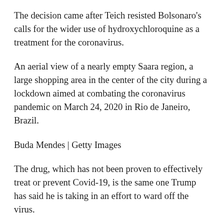The decision came after Teich resisted Bolsonaro's calls for the wider use of hydroxychloroquine as a treatment for the coronavirus.
An aerial view of a nearly empty Saara region, a large shopping area in the center of the city during a lockdown aimed at combating the coronavirus pandemic on March 24, 2020 in Rio de Janeiro, Brazil.
Buda Mendes | Getty Images
The drug, which has not been proven to effectively treat or prevent Covid-19, is the same one Trump has said he is taking in an effort to ward off the virus.